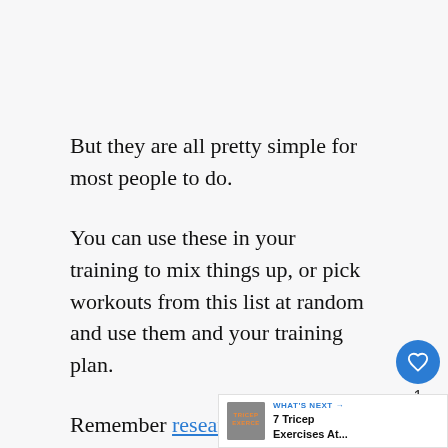But they are all pretty simple for most people to do.
You can use these in your training to mix things up, or pick workouts from this list at random and use them and your training plan.
Remember research suggests that HIIT burns 25% more calories than other forms of cardio too!